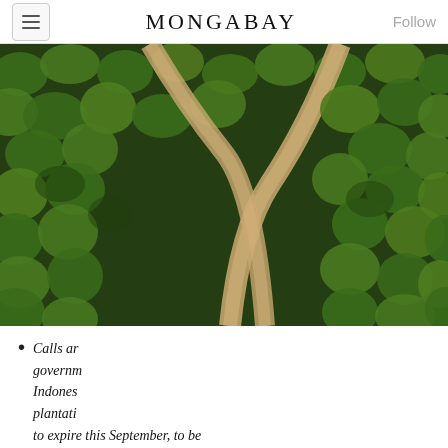MONGABAY
[Figure (photo): Aerial view of a palm oil plantation with dirt roads cutting through rows of palm trees, viewed from above. Dense green palm canopy fills most of the frame.]
[Figure (screenshot): Mobile web app install popup with Mongabay 'M' logo icon on green rounded square background, close X button, text 'To add this web app to the home screen: tap and then Add to Home Screen.' with a downward pointing arrow tooltip.]
Calls an governm Indones plantati to expire this September, to be